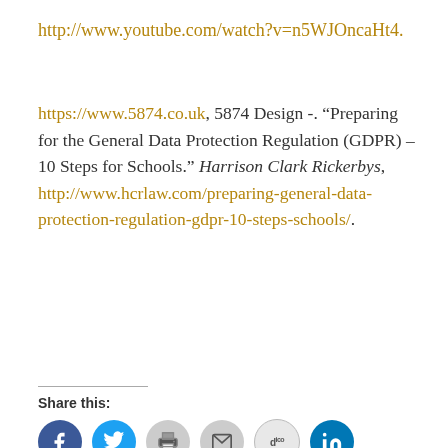http://www.youtube.com/watch?v=n5WJOncaHt4.
https://www.5874.co.uk, 5874 Design -. “Preparing for the General Data Protection Regulation (GDPR) – 10 Steps for Schools.” Harrison Clark Rickerbys, http://www.hcrlaw.com/preparing-general-data-protection-regulation-gdpr-10-steps-schools/.
Share this:
[Figure (infographic): Social sharing icons: Facebook (blue circle), Twitter (blue circle), Print (grey circle), Email (grey circle), Diigo (light grey circle with 'd-co' text), LinkedIn (teal circle with 'in')]
Loading...